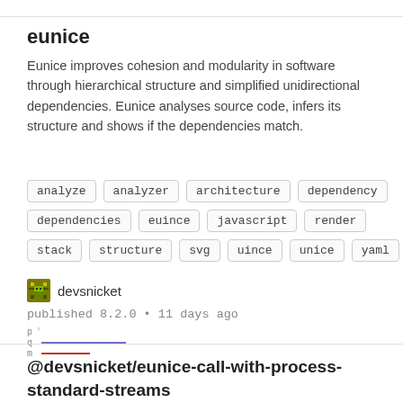eunice
Eunice improves cohesion and modularity in software through hierarchical structure and simplified unidirectional dependencies. Eunice analyses source code, infers its structure and shows if the dependencies match.
analyze
analyzer
architecture
dependency
dependencies
euince
javascript
render
stack
structure
svg
uince
unice
yaml
devsnicket
published 8.2.0 • 11 days ago
[Figure (other): Small chart with p, q, m labels and colored horizontal lines (blue and red)]
@devsnicket/eunice-call-with-process-standard-streams